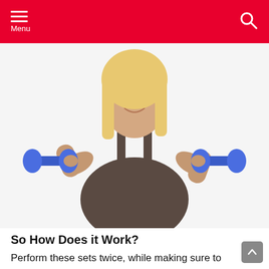Menu
[Figure (photo): A smiling middle-aged blonde woman in a dark tank top, holding blue dumbbells in both hands raised to shoulder height, against a white background.]
So How Does it Work?
Perform these sets twice, while making sure to alternate between aerobic/power training. Preform all